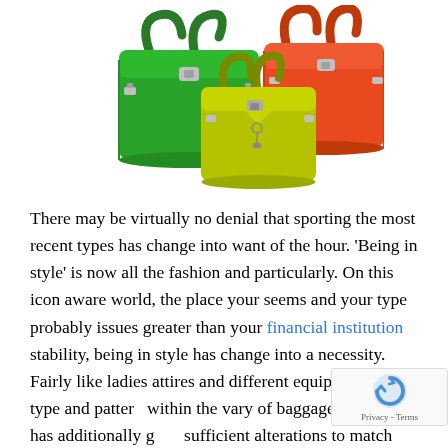[Figure (photo): Three colorful handbags / purses displayed on white background: a large green bag on the left, a yellow-green bag in the center-front, and orange bags on the right.]
There may be virtually no denial that sporting the most recent types has change into want of the hour. 'Being in style' is now all the fashion and particularly. On this icon aware world, the place your seems and your type probably issues greater than your financial institution stability, being in style has change into a necessity. Fairly like ladies attires and different equipment, the type and pattern within the vary of baggage for girls has additionally gone sufficient alterations to match with the period's